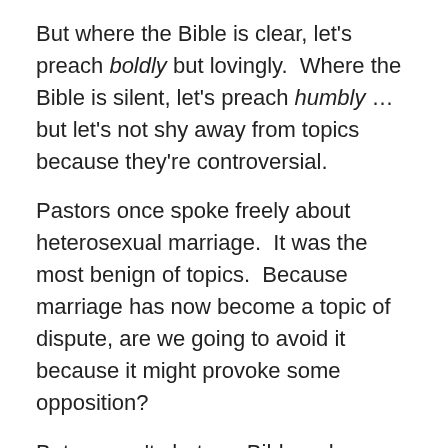But where the Bible is clear, let's preach boldly but lovingly.  Where the Bible is silent, let's preach humbly … but let's not shy away from topics because they're controversial.
Pastors once spoke freely about heterosexual marriage.  It was the most benign of topics.  Because marriage has now become a topic of dispute, are we going to avoid it because it might provoke some opposition?
But we can't shut our Bibles when people need a word from God.  Read Matthew 22-23.  Jesus never shied away from discussing any issue … and He always based His positions in the Word of God.
Pastors should feel confident and free enough to speak on any topic … because the Petes attending our churches